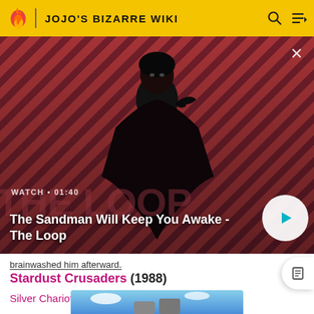JOJO'S BIZARRE WIKI
[Figure (screenshot): Video banner for 'The Sandman Will Keep You Awake - The Loop' showing a dark figure with a raven on red diagonal striped background. Duration shown as 01:40 with a circular play button.]
brainwashed him afterward.
Stardust Crusaders (1988)
Silver Chariot  EDIT
[Figure (illustration): Anime illustration showing Silver Chariot character from JoJo's Bizarre Adventure]